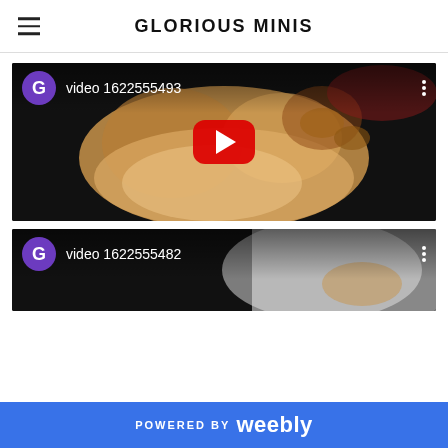GLORIOUS MINIS
[Figure (screenshot): YouTube video embed thumbnail showing puppies lying on a bed/surface, with a purple G avatar, title 'video 1622555493', and red YouTube play button overlay]
[Figure (screenshot): YouTube video embed thumbnail partially visible showing a puppy, with a purple G avatar, title 'video 1622555482']
POWERED BY weebly